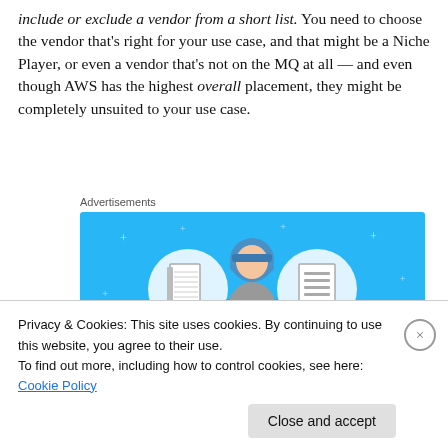include or exclude a vendor from a short list. You need to choose the vendor that's right for your use case, and that might be a Niche Player, or even a vendor that's not on the MQ at all — and even though AWS has the highest overall placement, they might be completely unsuited to your use case.
Advertisements
[Figure (illustration): Blue background advertisement banner showing a cartoon person with a helmet looking at their phone, flanked by two circular icons containing a notebook and a document list respectively, with small star/plus decorations scattered around.]
Privacy & Cookies: This site uses cookies. By continuing to use this website, you agree to their use.
To find out more, including how to control cookies, see here: Cookie Policy